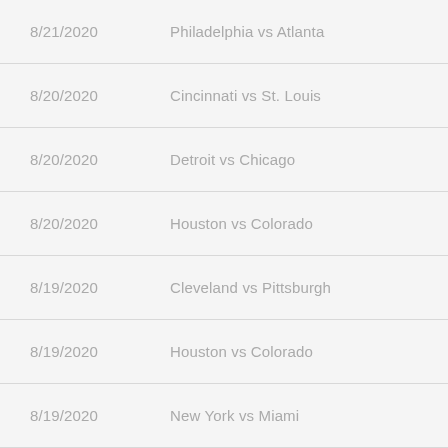8/21/2020   Philadelphia vs Atlanta
8/20/2020   Cincinnati vs St. Louis
8/20/2020   Detroit vs Chicago
8/20/2020   Houston vs Colorado
8/19/2020   Cleveland vs Pittsburgh
8/19/2020   Houston vs Colorado
8/19/2020   New York vs Miami